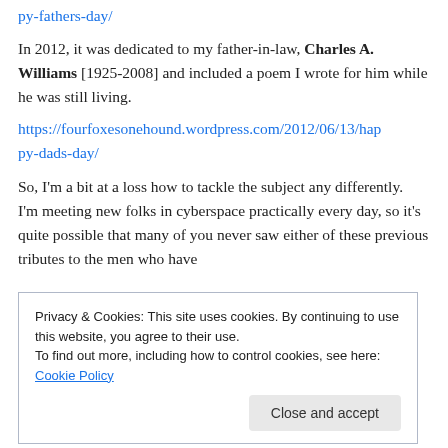py-fathers-day/
In 2012, it was dedicated to my father-in-law, Charles A. Williams [1925-2008] and included a poem I wrote for him while he was still living.
https://fourfoxesonehound.wordpress.com/2012/06/13/happy-dads-day/
So, I'm a bit at a loss how to tackle the subject any differently.  I'm meeting new folks in cyberspace practically every day, so it's quite possible that many of you never saw either of these previous tributes to the men who have
Privacy & Cookies: This site uses cookies. By continuing to use this website, you agree to their use.
To find out more, including how to control cookies, see here: Cookie Policy
Close and accept
experiences to share.)